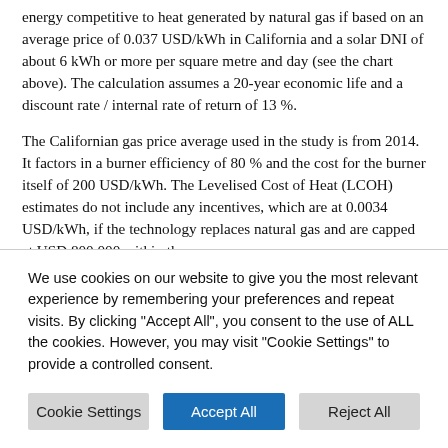energy competitive to heat generated by natural gas if based on an average price of 0.037 USD/kWh in California and a solar DNI of about 6 kWh or more per square metre and day (see the chart above). The calculation assumes a 20-year economic life and a discount rate / internal rate of return of 13 %.
The Californian gas price average used in the study is from 2014. It factors in a burner efficiency of 80 % and the cost for the burner itself of 200 USD/kWh. The Levelised Cost of Heat (LCOH) estimates do not include any incentives, which are at 0.0034 USD/kWh, if the technology replaces natural gas and are capped at USD 800,000 within the
We use cookies on our website to give you the most relevant experience by remembering your preferences and repeat visits. By clicking "Accept All", you consent to the use of ALL the cookies. However, you may visit "Cookie Settings" to provide a controlled consent.